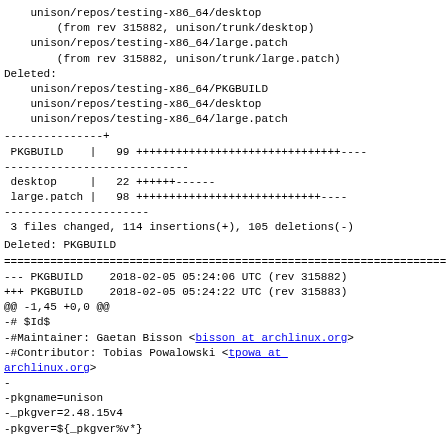unison/repos/testing-x86_64/desktop
        (from rev 315882, unison/trunk/desktop)
    unison/repos/testing-x86_64/large.patch
        (from rev 315882, unison/trunk/large.patch)
Deleted:
    unison/repos/testing-x86_64/PKGBUILD
    unison/repos/testing-x86_64/desktop
    unison/repos/testing-x86_64/large.patch
---------------+
 PKGBUILD    |   99 +++++++++++++++++++++++++++++++----
----------------------------
 desktop     |   22 ++++++------
 large.patch |   98 ++++++++++++++++++++++++++++----
----------------------
 3 files changed, 114 insertions(+), 105 deletions(-)
Deleted: PKGBUILD
===================================================================
--- PKGBUILD    2018-02-05 05:24:06 UTC (rev 315882)
+++ PKGBUILD    2018-02-05 05:24:22 UTC (rev 315883)
@@ -1,45 +0,0 @@
-# $Id$
-#Maintainer: Gaetan Bisson <bisson at archlinux.org>
-#Contributor: Tobias Powalowski <tpowa at 
archlinux.org>
-
-pkgname=unison
-_pkgver=2.48.15v4
-pkgver=${_pkgver%v*}